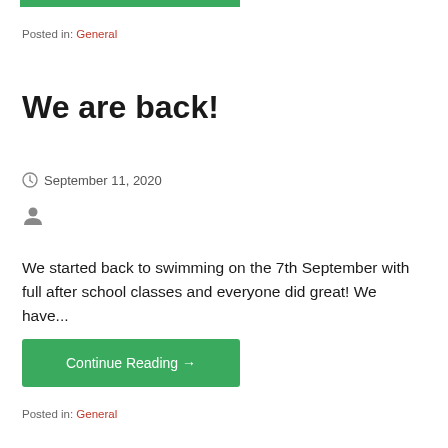Posted in: General
We are back!
September 11, 2020
We started back to swimming on the 7th September with full after school classes and everyone did great! We have...
Continue Reading →
Posted in: General